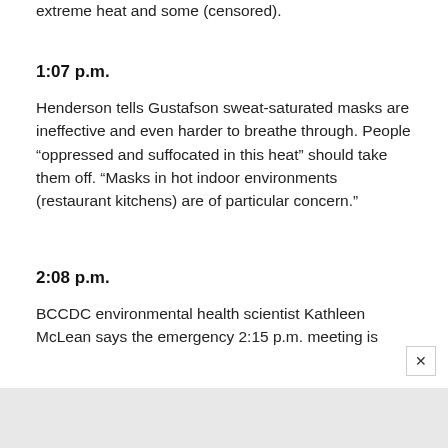extreme heat and some (censored).
1:07 p.m.
Henderson tells Gustafson sweat-saturated masks are ineffective and even harder to breathe through. People “oppressed and suffocated in this heat” should take them off. “Masks in hot indoor environments (restaurant kitchens) are of particular concern.”
2:08 p.m.
BCCDC environmental health scientist Kathleen McLean says the emergency 2:15 p.m. meeting is